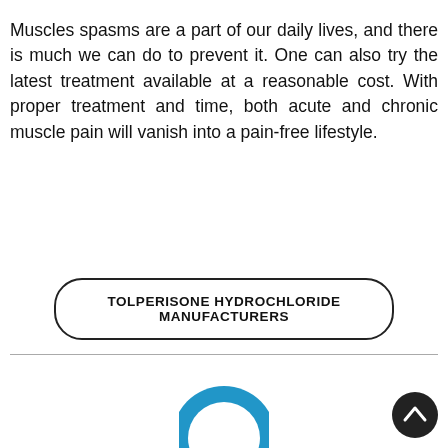Muscles spasms are a part of our daily lives, and there is much we can do to prevent it. One can also try the latest treatment available at a reasonable cost. With proper treatment and time, both acute and chronic muscle pain will vanish into a pain-free lifestyle.
TOLPERISONE HYDROCHLORIDE MANUFACTURERS
[Figure (logo): A blue circular logo with white stylized letter or symbol inside, partially visible at the bottom of the page.]